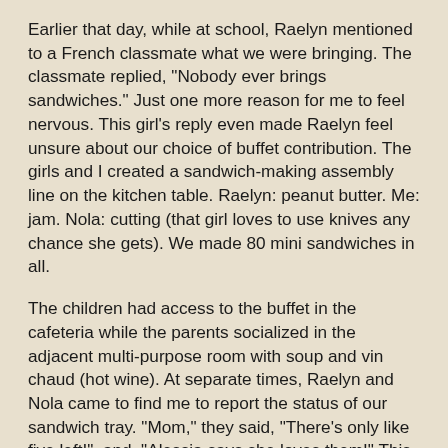Earlier that day, while at school, Raelyn mentioned to a French classmate what we were bringing. The classmate replied, "Nobody ever brings sandwiches." Just one more reason for me to feel nervous. This girl's reply even made Raelyn feel unsure about our choice of buffet contribution. The girls and I created a sandwich-making assembly line on the kitchen table. Raelyn: peanut butter. Me: jam. Nola: cutting (that girl loves to use knives any chance she gets). We made 80 mini sandwiches in all.
The children had access to the buffet in the cafeteria while the parents socialized in the adjacent multi-purpose room with soup and vin chaud (hot wine). At separate times, Raelyn and Nola came to find me to report the status of our sandwich tray. "Mom," they said, "There's only like five left!", and, "Alessia says she loves them!" This, from the girl who earlier stated that nobody brings sandwiches. Guess we showed her eh? The mini PB&Js were all gobbled up. I even saw a Chinese mother with a few on her plate. I wonder how often a Chinese person in Paris eats PB&J? I'm so glad we were able to provide people with an American cultural experience of the highest standards.